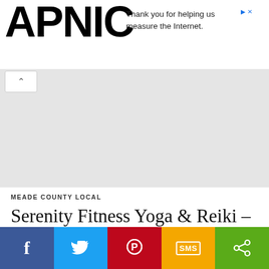[Figure (screenshot): APNIC logo on left, advertisement text 'Thank you for helping us measure the Internet.' on right with close button]
[Figure (other): Grey rectangular advertisement content area]
MEADE COUNTY LOCAL
Serenity Fitness Yoga & Reiki – Yoga for Anxiety
[Figure (infographic): Social share bar with Facebook, Twitter, Pinterest, SMS, and share buttons]